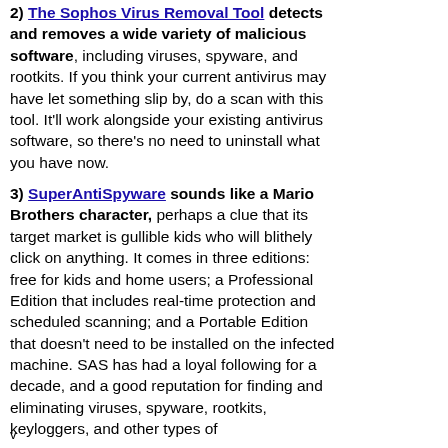2) The Sophos Virus Removal Tool detects and removes a wide variety of malicious software, including viruses, spyware, and rootkits. If you think your current antivirus may have let something slip by, do a scan with this tool. It'll work alongside your existing antivirus software, so there's no need to uninstall what you have now.
3) SuperAntiSpyware sounds like a Mario Brothers character, perhaps a clue that its target market is gullible kids who will blithely click on anything. It comes in three editions: free for kids and home users; a Professional Edition that includes real-time protection and scheduled scanning; and a Portable Edition that doesn't need to be installed on the infected machine. SAS has had a loyal following for a decade, and a good reputation for finding and eliminating viruses, spyware, rootkits, keyloggers, and other types of
v